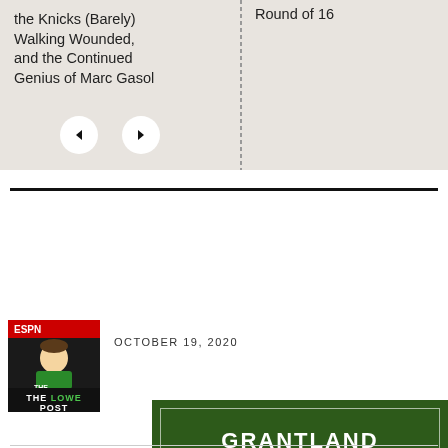[Figure (screenshot): Podcast card with beige/tan background showing partial title text 'the Knicks (Barely) Walking Wounded, and the Continued Genius of Marc Gasol' on the left, a dotted vertical divider, 'Round of 16' text on the right, and two circular navigation buttons (back and forward arrows) at the bottom]
[Figure (logo): Grantland Sports Podcasts banner with dark green grass background, white inner border rectangle, 'GRANTLAND' in large bold white letters, a white horizontal rule, and 'SPORTS PODCASTS' in smaller bold white letters]
[Figure (logo): The Lowe Post podcast logo: ESPN branding, cartoon illustration of a man in green shirt, 'THE LOWE POST' text in white and green on dark background]
OCTOBER 19, 2020